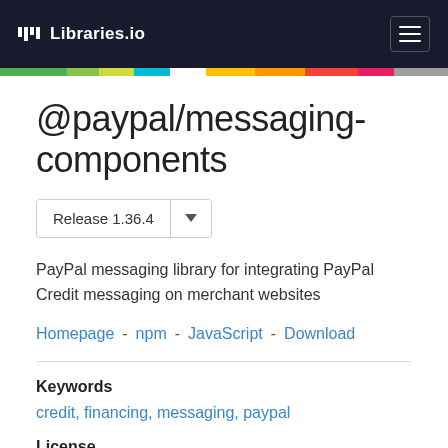Libraries.io
@paypal/messaging-components
Release 1.36.4
PayPal messaging library for integrating PayPal Credit messaging on merchant websites
Homepage - npm - JavaScript - Download
Keywords
credit, financing, messaging, paypal
License
Apache-2.0